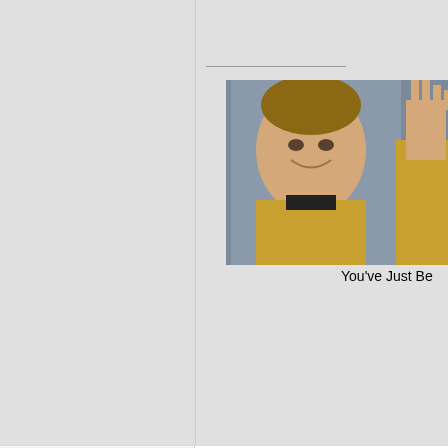[Figure (screenshot): Forum post screenshot showing Star Trek image (Kirk smiling) with caption 'You've Just Be...' in top right column]
Apr 21st, 2011 06:50 PM
[Figure (other): Forum toolbar icons: lightbulb, pm button with two person icons, search button]
Blinky
Android First Class
[Figure (photo): Avatar photo of person wearing sunglasses and hat against red background]
Gender: Unspecified
Location: United States
quote: (post)
Originally posted by Robtard
Have you seen the man's t!ts!? Tho...
Did you ever get Clown House?
Hahahah, yeah I did buddy.

Thanks for the clown rape.